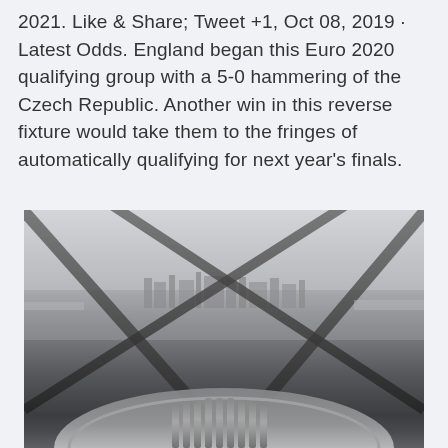2021. Like & Share; Tweet +1, Oct 08, 2019 · Latest Odds. England began this Euro 2020 qualifying group with a 5-0 hammering of the Czech Republic. Another win in this reverse fixture would take them to the fringes of automatically qualifying for next year's finals.
[Figure (photo): View from a high observation deck (likely Empire State Building) through decorative X-shaped metal window frames, looking out over a hazy city skyline with water visible in the distance. The foreground shows ornate metalwork of the observation deck railing.]